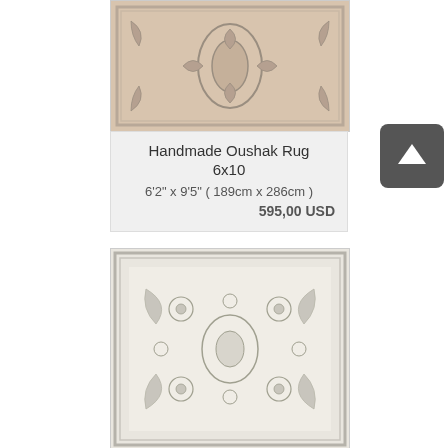[Figure (photo): Handmade Oushak rug with faded peach/beige tones and medallion pattern, top portion visible]
Handmade Oushak Rug
6x10
6'2" x 9'5" ( 189cm x 286cm )
595,00 USD
[Figure (photo): Handmade rug with cream/ivory background and faded floral/botanical pattern in grey-green tones]
[Figure (other): Scroll to top button - dark grey rounded square with white upward arrow]